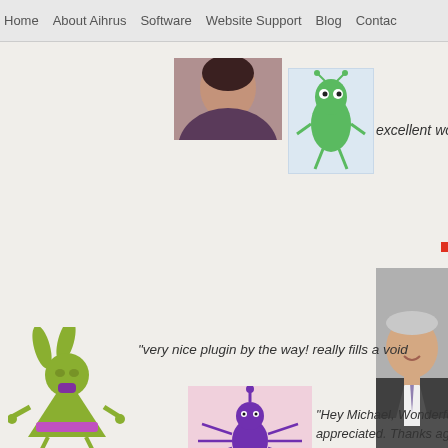Home   About Aihrus   Software   Website Support   Blog   Contact
[Figure (photo): Partial photo of a woman at the top center]
[Figure (illustration): Green cartoon creature character]
excellent wo...
[Figure (photo): Photo of a businessman in a suit]
[Figure (illustration): Green cartoon character with rabbit ears at bottom left]
“very nice plugin by the way! really fills a void...
[Figure (illustration): Purple spider-like cartoon creature on pink background]
“Hey Michael, Wonderful! Thanks fo... appreciated. Thanks again!”